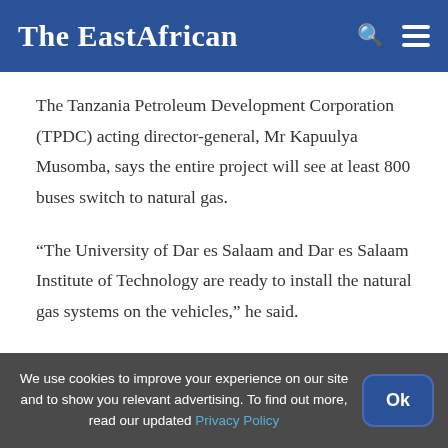The EastAfrican
The Tanzania Petroleum Development Corporation (TPDC) acting director-general, Mr Kapuulya Musomba, says the entire project will see at least 800 buses switch to natural gas.
“The University of Dar es Salaam and Dar es Salaam Institute of Technology are ready to install the natural gas systems on the vehicles,” he said.
We use cookies to improve your experience on our site and to show you relevant advertising. To find out more, read our updated Privacy Policy